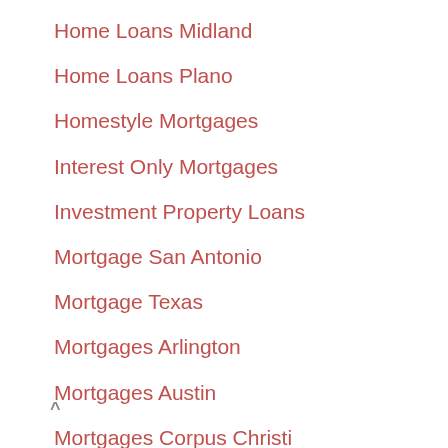Home Loans Midland
Home Loans Plano
Homestyle Mortgages
Interest Only Mortgages
Investment Property Loans
Mortgage San Antonio
Mortgage Texas
Mortgages Arlington
Mortgages Austin
Mortgages Corpus Christi
Mortgages Dallas
Mortgages Fort Worth
Mortgages Grand Prairie
Mortgages Houston